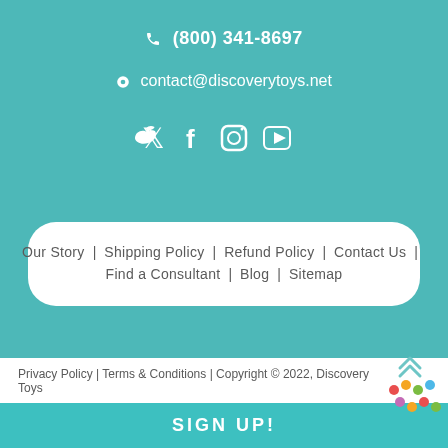(800) 341-8697
contact@discoverytoys.net
[Figure (illustration): Social media icons: Twitter, Facebook, Instagram, YouTube in white]
Our Story | Shipping Policy | Refund Policy | Contact Us | Find a Consultant | Blog | Sitemap
Privacy Policy | Terms & Conditions | Copyright © 2022, Discovery Toys
[Figure (logo): Discovery Toys colorful dot logo]
SIGN UP!